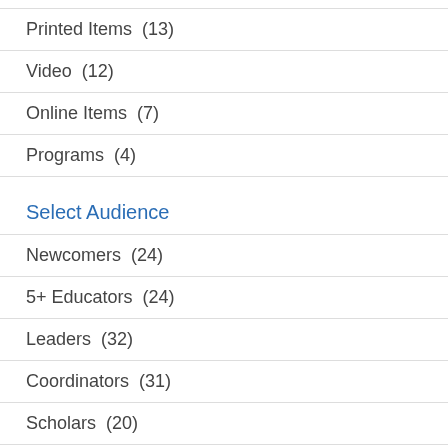Printed Items  (13)
Video  (12)
Online Items  (7)
Programs  (4)
Select Audience
Newcomers  (24)
5+ Educators  (24)
Leaders  (32)
Coordinators  (31)
Scholars  (20)